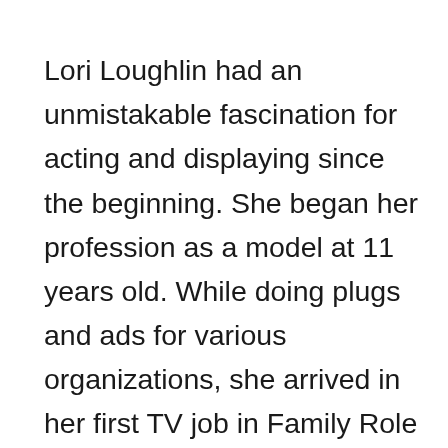Lori Loughlin had an unmistakable fascination for acting and displaying since the beginning. She began her profession as a model at 11 years old. While doing plugs and ads for various organizations, she arrived in her first TV job in Family Role in 1971. In like manner, Loughlin additionally assumed the job of Jody Travis in the ABC drama The Edge of Night from 1980 to 1983. In the drama, she featured alongside Marcia Cross, Holland Taylor, and 15 other